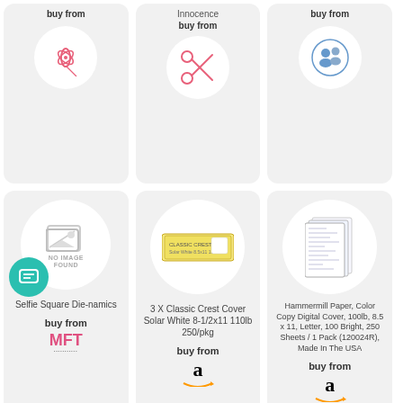[Figure (other): Card showing 'buy from' with pink pinwheel/bow icon]
[Figure (other): Card showing product name 'Innocence', 'buy from' with scissors icon]
[Figure (other): Card showing 'buy from' with avatar/people icon]
[Figure (other): Card showing 'Selfie Square Die-namics', 'buy from' with MFT logo, no image placeholder]
[Figure (other): Card showing '3 X Classic Crest Cover Solar White 8-1/2x11 110lb 250/pkg', 'buy from' with Amazon logo]
[Figure (other): Card showing 'Hammermill Paper, Color Copy Digital Cover, 100lb, 8.5 x 11, Letter, 100 Bright, 250 Sheets / 1 Pack (120024R), Made In The USA', 'buy from' with Amazon logo]
[Figure (other): Partial bottom-row card with cream/yellow paper sheets]
[Figure (other): Partial bottom-row card with green paw print stamp product]
[Figure (other): Partial bottom-row card with Gina K Designs logo]